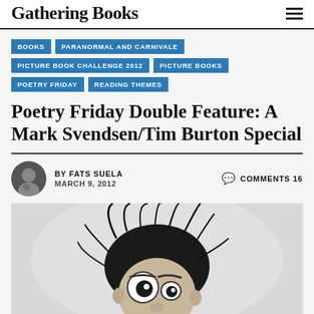Gathering Books
BOOKS
PARANORMAL AND CARNIVALE
PICTURE BOOK CHALLENGE 2012
PICTURE BOOKS
POETRY FRIDAY
READING THEMES
Poetry Friday Double Feature: A Mark Svendsen/Tim Burton Special
BY FATS SUELA   MARCH 9, 2012   COMMENTS 16
[Figure (photo): Black and white photo of a cartoon-like or puppet character with wild dark hair, large round eyes, and an expressive frightened or surprised face, shown from shoulders up against a light background.]